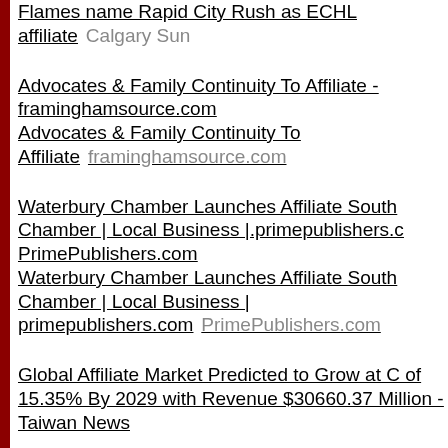Flames name Rapid City Rush as ECHL affiliate  Calgary Sun
Advocates & Family Continuity To Affiliate - framinghamsource.com  Advocates & Family Continuity To Affiliate  framinghamsource.com
Waterbury Chamber Launches Affiliate South Chamber | Local Business | primepublishers.com  PrimePublishers.com  Waterbury Chamber Launches Affiliate South Chamber | Local Business | primepublishers.com  PrimePublishers.com
Global Affiliate Market Predicted to Grow at C of 15.35% By 2029 with Revenue $30660.37 Million - Taiwan News